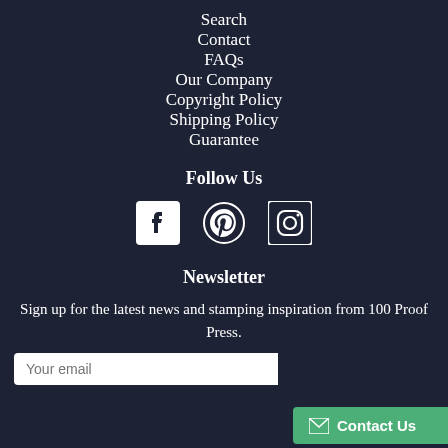Search
Contact
FAQs
Our Company
Copyright Policy
Shipping Policy
Guarantee
Follow Us
[Figure (other): Social media icons: Facebook, Pinterest, Instagram]
Newsletter
Sign up for the latest news and stamping inspiration from 100 Proof Press.
Your email
Contact Us